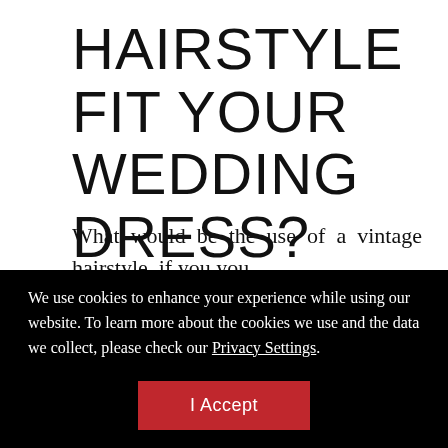HAIRSTYLE FIT YOUR WEDDING DRESS?
What would be the use of a vintage hairstyle, if you you
We use cookies to enhance your experience while using our website. To learn more about the cookies we use and the data we collect, please check our Privacy Settings.
I Accept